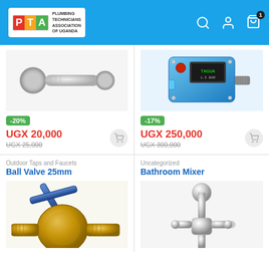[Figure (logo): PTA - Plumbing Technicians Association of Uganda logo]
[Figure (photo): Chrome angle valve / stop cock plumbing fitting]
[Figure (photo): Blue electronic water pump pressure controller]
-20%
UGX 20,000
UGX 25,000
-17%
UGX 250,000
UGX 300,000
Outdoor Taps and Faucets
Ball Valve 25mm
Uncategorized
Bathroom Mixer
[Figure (photo): Brass ball valve 25mm with blue handle]
[Figure (photo): Chrome bathroom mixer tap/faucet]